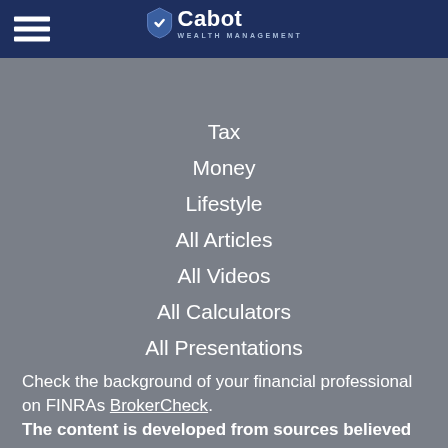Cabot Wealth Management
Tax
Money
Lifestyle
All Articles
All Videos
All Calculators
All Presentations
Check the background of your financial professional on FINRAs BrokerCheck.
The content is developed from sources believed to be providing accurate information. The information in this material is not intended as tax or legal advice. Please consult legal or tax professionals for specific information regarding your individual situation. Some of this material was developed and produced by FMG Suite to provide information on a topic that may be of interest. FMG Suite